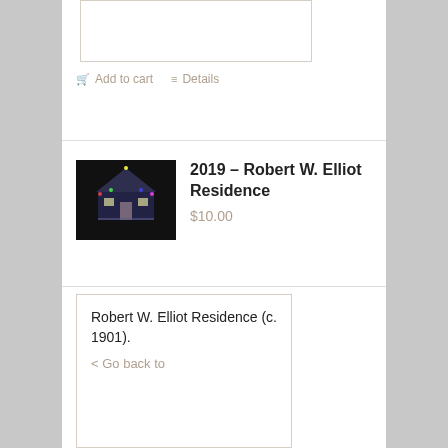[Figure (other): Empty bordered box (product image placeholder)]
Add to cart   Details
2019 – Robert W. Elliot Residence
$10.00
[Figure (photo): Small dark thumbnail image of a model house ornament lit with colorful lights against a black background]
Robert W. Elliot Residence (c. 1901).
< Go back to